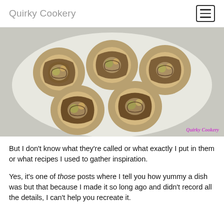Quirky Cookery
[Figure (photo): Overhead photo of savory pinwheel rolls on a white plate, filled with dark herbs/black beans, cheese, and vegetables, arranged in a circular pattern. Watermark 'Quirky Cookery' in purple italic text at bottom right.]
But I don't know what they're called or what exactly I put in them or what recipes I used to gather inspiration.
Yes, it's one of those posts where I tell you how yummy a dish was but that because I made it so long ago and didn't record all the details, I can't help you recreate it.